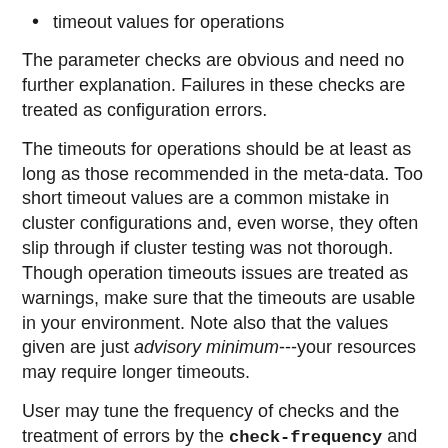timeout values for operations
The parameter checks are obvious and need no further explanation. Failures in these checks are treated as configuration errors.
The timeouts for operations should be at least as long as those recommended in the meta-data. Too short timeout values are a common mistake in cluster configurations and, even worse, they often slip through if cluster testing was not thorough. Though operation timeouts issues are treated as warnings, make sure that the timeouts are usable in your environment. Note also that the values given are just advisory minimum---your resources may require longer timeouts.
User may tune the frequency of checks and the treatment of errors by the check-frequency and check-mode preferences.